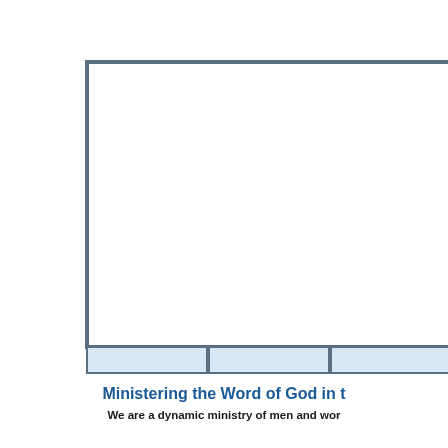[Figure (other): Large rectangular bordered frame (white interior) with a light blue segmented footer bar at the bottom, partially cropped at right edge. Represents a decorative or placeholder image/slide element.]
Ministering the Word of God in t
We are a dynamic ministry of men and wor